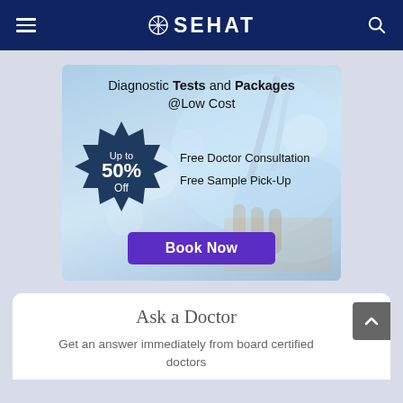☰ ISEHAT 🔍
[Figure (infographic): Diagnostic Tests and Packages @Low Cost promotional banner with a laboratory background image showing test tubes and pipettes. Features a dark navy starburst badge reading 'Up to 50% Off', text listing 'Free Doctor Consultation' and 'Free Sample Pick-Up', and a purple 'Book Now' button.]
Ask a Doctor
Get an answer immediately from board certified doctors